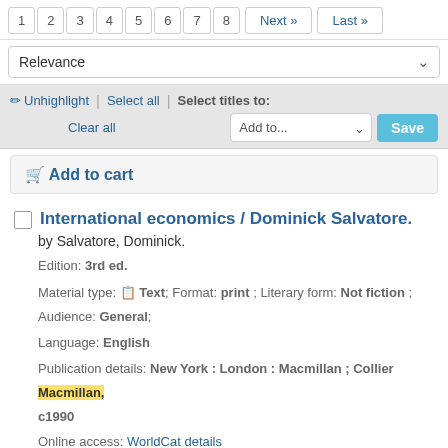1 2 3 4 5 6 7 8 Next » Last »
Relevance
✏ Unhighlight | Select all | Select titles to: Clear all | Add to... Save
🛒 Add to cart
International economics / Dominick Salvatore.
by Salvatore, Dominick.
Edition: 3rd ed.
Material type: 📋 Text; Format: print ; Literary form: Not fiction ; Audience: General;
Language: English
Publication details: New York : London : Macmillan ; Collier Macmillan, c1990
Online access: WorldCat details